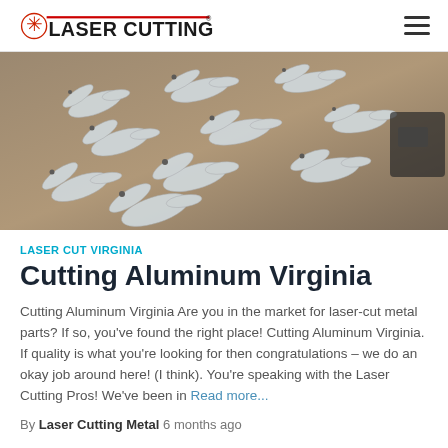LASER CUTTING PROS
[Figure (photo): Photo of multiple laser-cut metal bird (duck/seagull) shapes arranged on a brown surface]
LASER CUT VIRGINIA
Cutting Aluminum Virginia
Cutting Aluminum Virginia Are you in the market for laser-cut metal parts? If so, you've found the right place! Cutting Aluminum Virginia. If quality is what you're looking for then congratulations – we do an okay job around here! (I think). You're speaking with the Laser Cutting Pros! We've been in Read more...
By Laser Cutting Metal  6 months ago